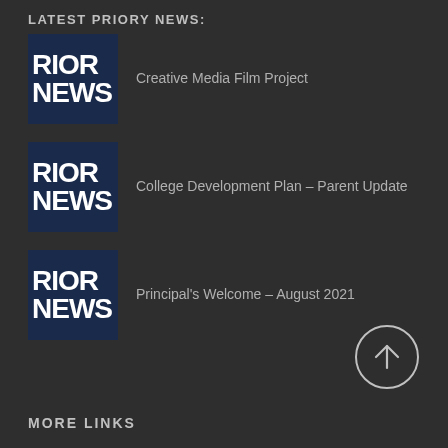LATEST PRIORY NEWS:
Creative Media Film Project
College Development Plan – Parent Update
Principal's Welcome – August 2021
MORE LINKS